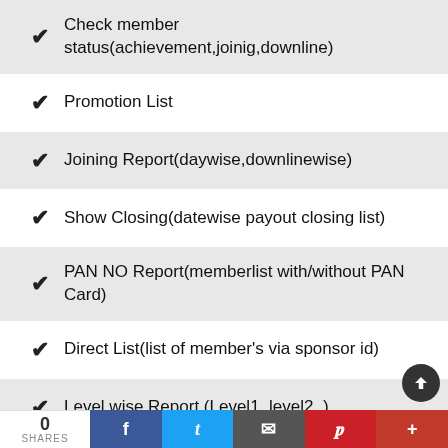Check member status(achievement,joinig,downline)
Promotion List
Joining Report(daywise,downlinewise)
Show Closing(datewise payout closing list)
PAN NO Report(memberlist with/without PAN Card)
Direct List(list of member's via sponsor id)
Level wise Report (Level1, level2,.)
Generate ePin
Send epin via SMS